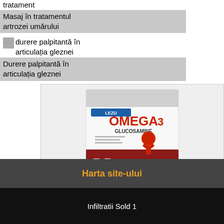tratament
Masaj în tratamentul artrozei umărului
durere palpitantă în articulația gleznei
Durere palpitantă în articulația gleznei
[Figure (photo): Product box of Omega 3 Glucosamine supplement]
Glicozamină și condroitină preț farmacie
Harta site-ului
Infiltratii Sold 1